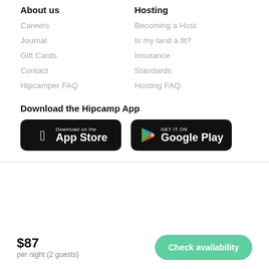About us
Careers
Journal
Gift Cards
Contact
Hipcamper FAQ
Hosting
Becoming a Host
Is my land a fit?
Insurance
Standards
Hosting FAQ
Download the Hipcamp App
[Figure (screenshot): App Store and Google Play download buttons for the Hipcamp app]
$87 per night (2 guests)
Check availability